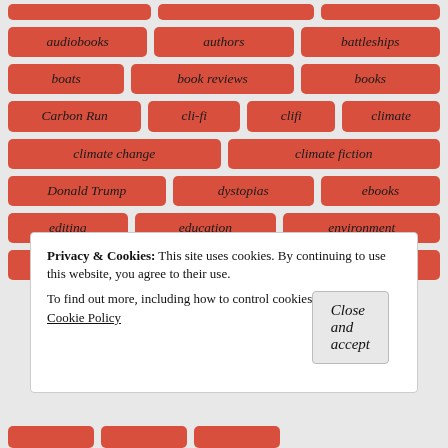audiobooks
authors
battleships
boats
book reviews
books
Carbon Run
cli-fi
clifi
climate
climate change
climate fiction
Donald Trump
dystopias
ebooks
editing
education
environment
excerpts
exhibits
fantasy
Privacy & Cookies: This site uses cookies. By continuing to use this website, you agree to their use.
To find out more, including how to control cookies, see here: Cookie Policy
Close and accept